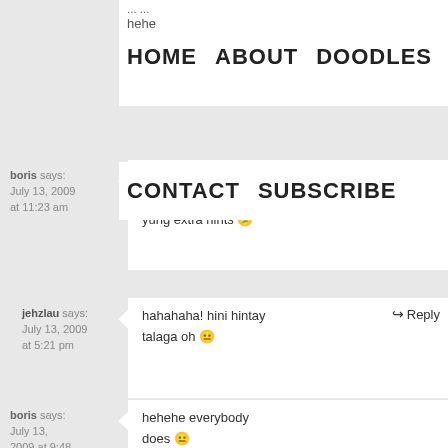hehe
HOME   ABOUT   DOODLES
CONTACT   SUBSCRIBE
boris says:
July 13, 2009 at 11:23 am
la la la la... lapet na 1!
XD nasan na kaya yung extra hints ☹
jehzlau says:
July 13, 2009 at 5:21 pm
hahahaha! hini hintay talaga oh 😐
boris says:
July 13, 2009 at 9:48 pm
hehehe everybody does 😐
jehzlau says:
July 14, 2009 at 5:00
hahaha.. ayan na oh.. kita mo? 😊